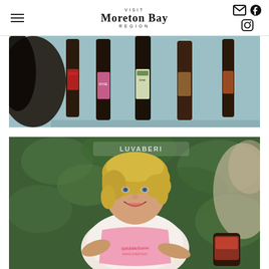VISIT Moreton Bay REGION
[Figure (photo): Wine bottles mounted on a light blue/teal wall, showing several dark glass bottles with colorful labels]
[Figure (photo): Woman with blonde hair wearing a white shirt and pink apron with 'Strawsome' text, smiling at a market stall with LUVABERI sign visible in background greenery]